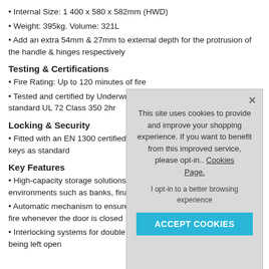Internal Size: 1 400 x 580 x 582mm (HWD)
Weight: 395kg. Volume: 321L
Add an extra 54mm & 27mm to external depth for the protrusion of the handle & hinges respectively
Testing & Certifications
Fire Rating: Up to 120 minutes of fire
Tested and certified by Underwriter's standard UL 72 Class 350 2hr
Locking & Security
Fitted with an EN 1300 certified Clas keys as standard
Key Features
High-capacity storage solutions with environments such as banks, financial in
Automatic mechanism to ensure bolts fire whenever the door is closed
Interlocking systems for double door models to prevent the safe from being left open
This site uses cookies to provide and improve your shopping experience. If you want to benefit from this improved service, please opt-in.. Cookies Page. I opt-in to a better browsing experience ACCEPT COOKIES